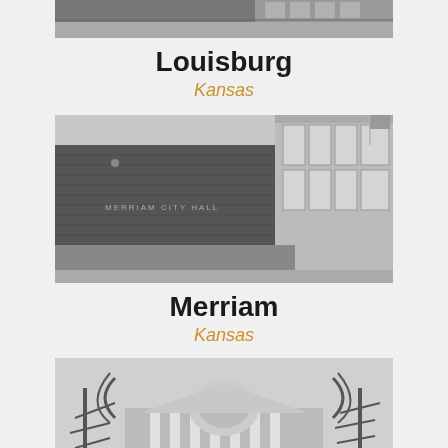[Figure (photo): Partial view of a building in Louisburg, Kansas (top portion visible)]
Louisburg
Kansas
[Figure (photo): Merriam City Hall building - a modern dark brick building with glass windows, black and white photo]
Merriam
Kansas
[Figure (photo): A government/civic building in winter with snow on the ground, classical architecture with columns, black and white photo]